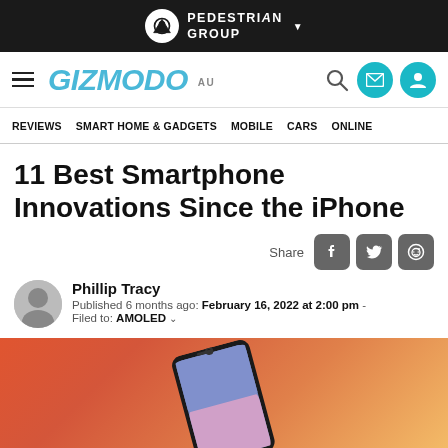PEDESTRIAN GROUP
GIZMODO AU — REVIEWS  SMART HOME & GADGETS  MOBILE  CARS  ONLINE
11 Best Smartphone Innovations Since the iPhone
Share
Phillip Tracy
Published 6 months ago:  February 16, 2022 at 2:00 pm -
Filed to:  AMOLED
[Figure (photo): Smartphone lying on an orange-pink gradient background, showing its screen with lock screen wallpaper]